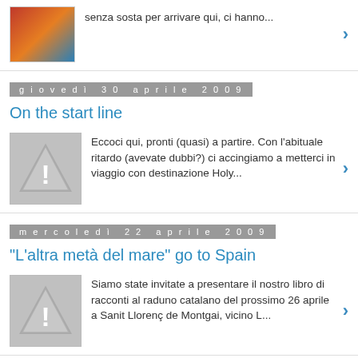senza sosta per arrivare qui, ci hanno...
giovedì 30 aprile 2009
On the start line
Eccoci qui, pronti (quasi) a partire. Con l'abituale ritardo (avevate dubbi?) ci accingiamo a metterci in viaggio con destinazione Holy...
mercoledì 22 aprile 2009
"L'altra metà del mare" go to Spain
Siamo state invitate a presentare il nostro libro di racconti al raduno catalano del prossimo 26 aprile a Sanit Llorenç de Montgai, vicino L...
lunedì 20 aprile 2009